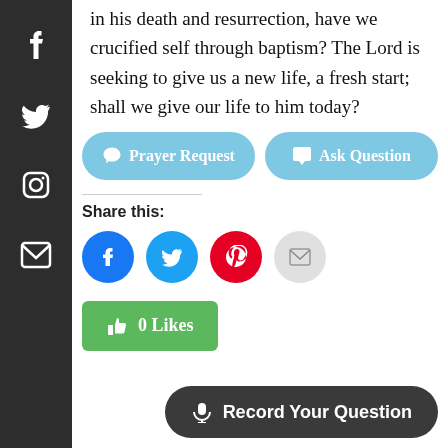in his death and resurrection, have we crucified self through baptism? The Lord is seeking to give us a new life, a fresh start; shall we give our life to him today?
Prayer Request
Ask Question
Share this:
[Figure (infographic): Social share icons: Facebook (blue circle), Twitter (light blue circle), Pinterest (red circle), Email (gray circle)]
0 Likes
Record Your Question